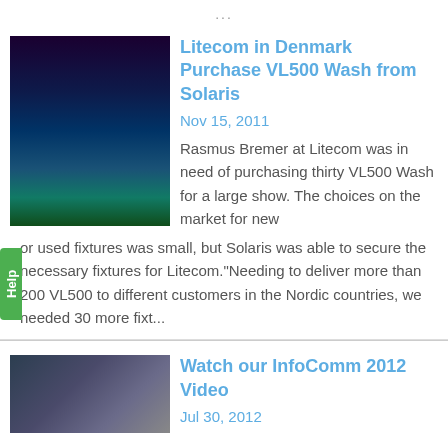...
Litecom in Denmark Purchase VL500 Wash from Solaris
Nov 15, 2011
Rasmus Bremer at Litecom was in need of purchasing thirty VL500 Wash for a large show. The choices on the market for new or used fixtures was small, but Solaris was able to secure the necessary fixtures for Litecom."Needing to deliver more than 200 VL500 to different customers in the Nordic countries, we needed 30 more fixt...
Watch our InfoComm 2012 Video
Jul 30, 2012